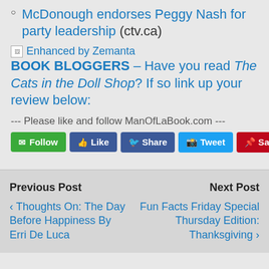McDonough endorses Peggy Nash for party leadership (ctv.ca)
[Figure (other): Enhanced by Zemanta logo/badge]
BOOK BLOGGERS – Have you read The Cats in the Doll Shop? If so link up your review below:
--- Please like and follow ManOfLaBook.com ---
[Figure (other): Social media buttons: Follow, Like, Share, Tweet, Save]
Previous Post
Thoughts On: The Day Before Happiness By Erri De Luca
Next Post
Fun Facts Friday Special Thursday Edition: Thanksgiving